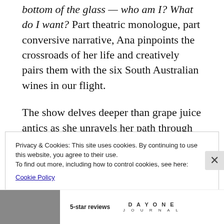bottom of the glass — who am I? What do I want? Part theatric monologue, part conversive narrative, Ana pinpoints the crossroads of her life and creatively pairs them with the six South Australian wines in our flight.
The show delves deeper than grape juice antics as she unravels her path through the adversity and heartache of womanhood, self-discovery, and vino consumption before you. At times, I could see the vines of the Barossa valley open
Privacy & Cookies: This site uses cookies. By continuing to use this website, you agree to their use.
To find out more, including how to control cookies, see here:
Cookie Policy
Close and accept
5-star reviews   DAY ONE
JOURNAL